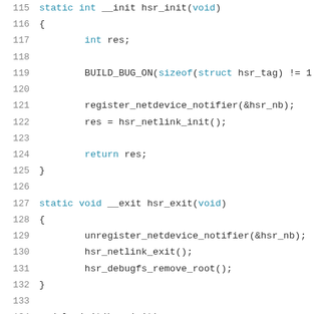[Figure (screenshot): Source code listing showing C kernel module code, lines 115-136, with syntax highlighting. Keywords in blue, strings in red, regular code in dark gray, line numbers in gray.]